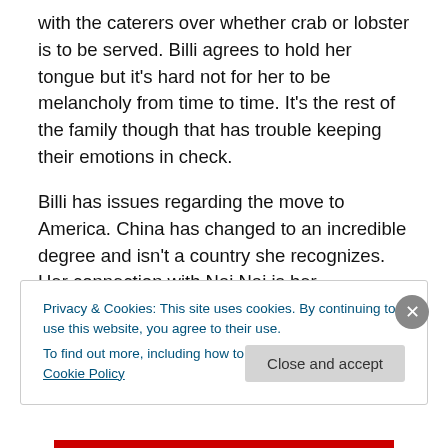with the caterers over whether crab or lobster is to be served. Billi agrees to hold her tongue but it's hard not for her to be melancholy from time to time. It's the rest of the family though that has trouble keeping their emotions in check.
Billi has issues regarding the move to America. China has changed to an incredible degree and isn't a country she recognizes. Her connection with Nai Nai is her connection to her heritage and it is part of her identity. The Farewell allows us – and director Lulu Wang, whose life and
Privacy & Cookies: This site uses cookies. By continuing to use this website, you agree to their use.
To find out more, including how to control cookies, see here: Cookie Policy